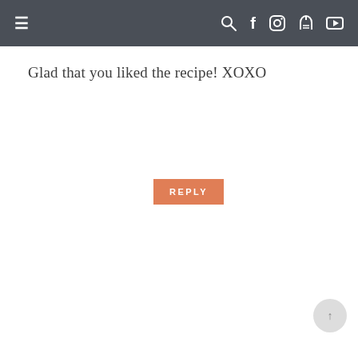≡  🔍 f 📷 p ▶
Glad that you liked the recipe! XOXO
REPLY
[Figure (photo): Profile photo of Stephanie Jones, a woman wearing a hat]
STEPHANIE JONES SAYS
OCTOBER 30, 2016 AT 7:25 AM
I'm trying this today. I've always wanted to learn how to country cook and finding you on YouTube was like finding my long lost big sister who was gonna teach me her trade secrets! I'm a nervous cook typically